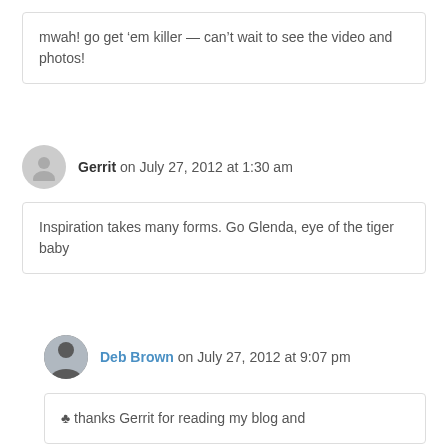mwah! go get ‘em killer — can’t wait to see the video and photos!
Gerrit on July 27, 2012 at 1:30 am
Inspiration takes many forms. Go Glenda, eye of the tiger baby
Deb Brown on July 27, 2012 at 9:07 pm
♣ thanks Gerrit for reading my blog and